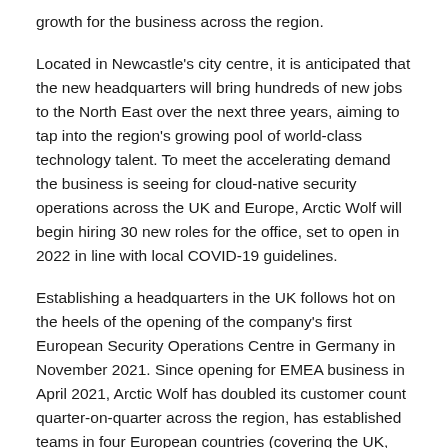growth for the business across the region.
Located in Newcastle's city centre, it is anticipated that the new headquarters will bring hundreds of new jobs to the North East over the next three years, aiming to tap into the region's growing pool of world-class technology talent. To meet the accelerating demand the business is seeing for cloud-native security operations across the UK and Europe, Arctic Wolf will begin hiring 30 new roles for the office, set to open in 2022 in line with local COVID-19 guidelines.
Establishing a headquarters in the UK follows hot on the heels of the opening of the company's first European Security Operations Centre in Germany in November 2021. Since opening for EMEA business in April 2021, Arctic Wolf has doubled its customer count quarter-on-quarter across the region, has established teams in four European countries (covering the UK, DACH, Benelux and